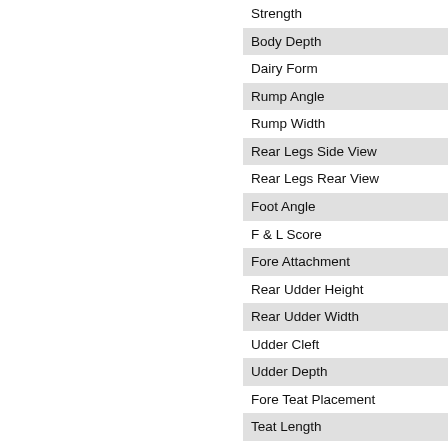Strength
Body Depth
Dairy Form
Rump Angle
Rump Width
Rear Legs Side View
Rear Legs Rear View
Foot Angle
F & L Score
Fore Attachment
Rear Udder Height
Rear Udder Width
Udder Cleft
Udder Depth
Fore Teat Placement
Teat Length
Rear Teat Placement